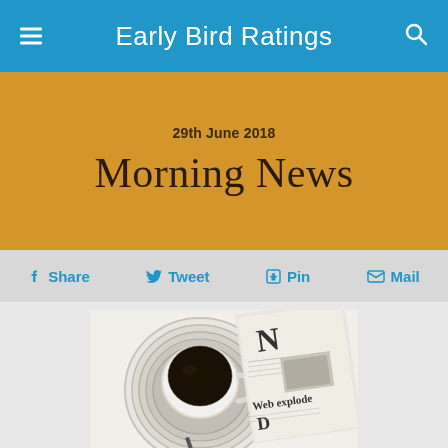Early Bird Ratings
29th June 2018
Morning News
Share  Tweet  Pin  Mail
[Figure (photo): Overhead photo of a white coffee cup with black coffee on a saucer with concentric rings, next to a folded newspaper showing the letter 'N' and headline 'Web explode' and letter 'D']